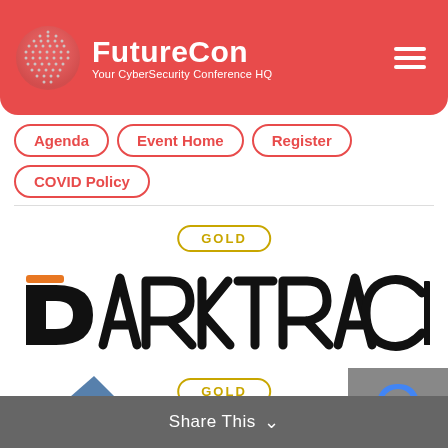[Figure (logo): FutureCon logo on red header background with globe icon and text 'FutureCon - Your CyberSecurity Conference HQ']
Agenda
Event Home
Register
COVID Policy
GOLD
[Figure (logo): Darktrace logo in black with orange accent on D letter]
GOLD
Share This